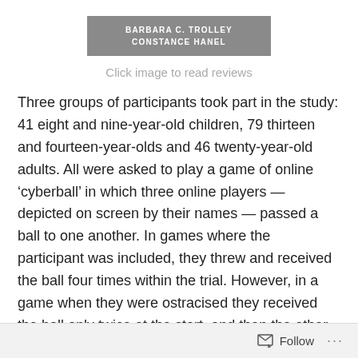[Figure (illustration): Gray banner with white bold text reading 'BARBARA C. TROLLEY / CONSTANCE HANEL']
Click image to read reviews
Three groups of participants took part in the study: 41 eight and nine-year-old children, 79 thirteen and fourteen-year-olds and 46 twenty-year-old adults. All were asked to play a game of online ‘cyberball’ in which three online players — depicted on screen by their names — passed a ball to one another. In games where the participant was included, they threw and received the ball four times within the trial. However, in a game when they were ostracised they received the ball only twice at the start, and then the other two players continued to play only passing the ball between themselves.
Follow ...